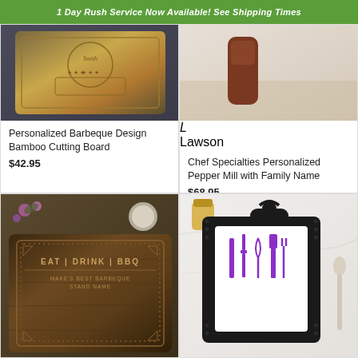1 Day Rush Service Now Available! See Shipping Times
[Figure (photo): Personalized barbeque design bamboo cutting board product photo]
Personalized Barbeque Design Bamboo Cutting Board
$42.95
[Figure (photo): Chef Specialties personalized pepper mill with family name product photo]
Chef Specialties Personalized Pepper Mill with Family Name
$68.95
[Figure (photo): Eat Drink BBQ engraved walnut cutting board product photo]
[Figure (photo): Mom's Kitchen personalized trivet product photo]